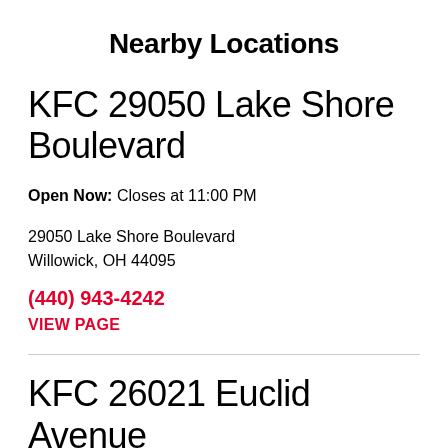Nearby Locations
KFC 29050 Lake Shore Boulevard
Open Now: Closes at 11:00 PM
29050 Lake Shore Boulevard
Willowick, OH 44095
(440) 943-4242
VIEW PAGE
KFC 26021 Euclid Avenue